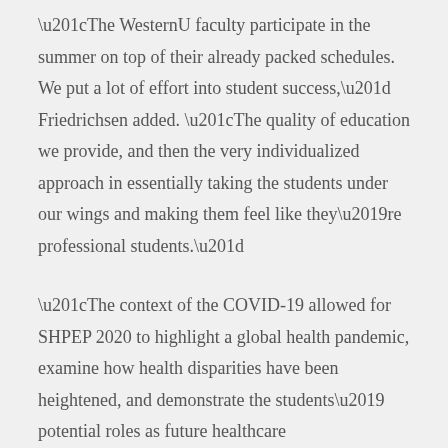“The WesternU faculty participate in the summer on top of their already packed schedules. We put a lot of effort into student success,” Friedrichsen added. “The quality of education we provide, and then the very individualized approach in essentially taking the students under our wings and making them feel like they’re professional students.”
“The context of the COVID-19 allowed for SHPEP 2020 to highlight a global health pandemic, examine how health disparities have been heightened, and demonstrate the students’ potential roles as future healthcare providers,” said College of Pharmacy Assistant Professor Josephine Aranda, PharmD. “It